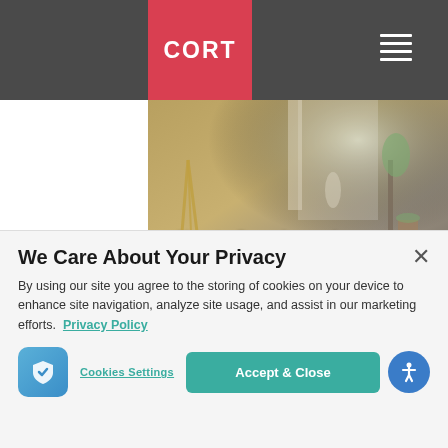CORT navigation bar with logo and hamburger menu
[Figure (photo): Hero image of a craft room workspace with art supplies, plants, and warm lighting. Text overlay reads 'How to Organize and Furnish a Craft Room']
How to Organize and Furnish a Craft Room
[Figure (photo): Blurred bokeh image showing holiday lights and decorative items]
We Care About Your Privacy
By using our site you agree to the storing of cookies on your device to enhance site navigation, analyze site usage, and assist in our marketing efforts. Privacy Policy
Cookies Settings
Accept & Close